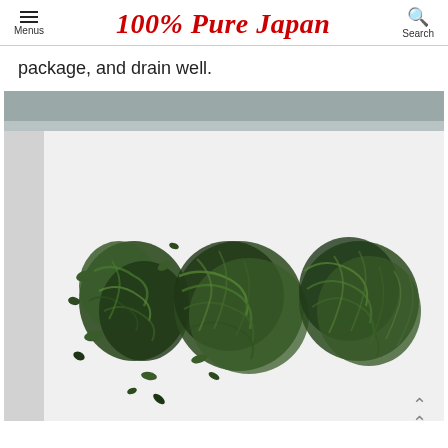100% Pure Japan
package, and drain well.
[Figure (photo): Photo of fresh green seaweed (wakame or similar) drained and placed on a white cutting board, shot against a stainless steel background.]